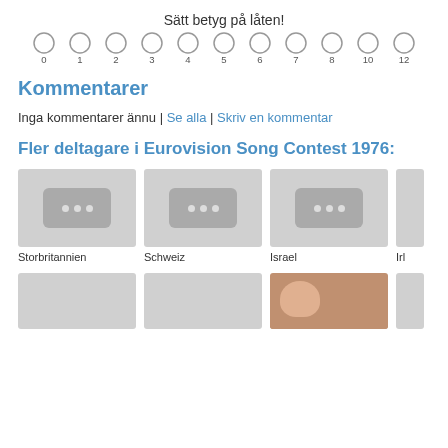Sätt betyg på låten!
[Figure (other): Rating scale with radio button circles labeled 0, 1, 2, 3, 4, 5, 6, 7, 8, 10, 12]
Kommentarer
Inga kommentarer ännu | Se alla | Skriv en kommentar
Fler deltagare i Eurovision Song Contest 1976:
[Figure (photo): Thumbnail placeholder for Storbritannien]
Storbritannien
[Figure (photo): Thumbnail placeholder for Schweiz]
Schweiz
[Figure (photo): Thumbnail placeholder for Israel]
Israel
[Figure (photo): Partial thumbnail on right edge labeled Irl...]